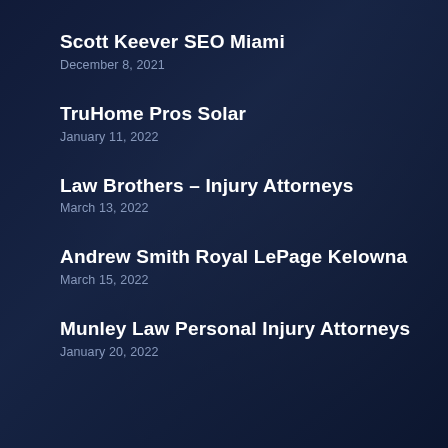Scott Keever SEO Miami
December 8, 2021
TruHome Pros Solar
January 11, 2022
Law Brothers – Injury Attorneys
March 13, 2022
Andrew Smith Royal LePage Kelowna
March 15, 2022
Munley Law Personal Injury Attorneys
January 20, 2022